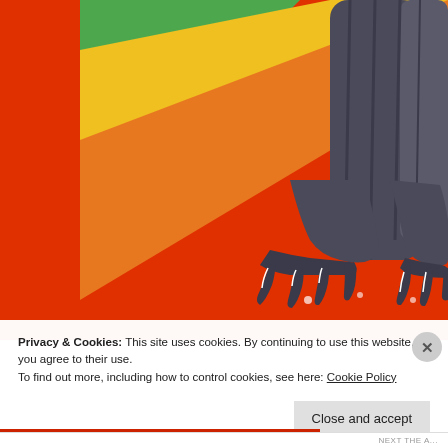[Figure (illustration): Watercolor illustration showing the lower body and legs of a dark grey/black creature (dinosaur or monster) with clawed feet standing on a bright red/orange background. A rainbow arc of green, yellow, and orange stripes appears in the upper left. The creature's thick dark legs hang down with sharp claws visible at the bottom.]
Privacy & Cookies: This site uses cookies. By continuing to use this website, you agree to their use.
To find out more, including how to control cookies, see here: Cookie Policy
Close and accept